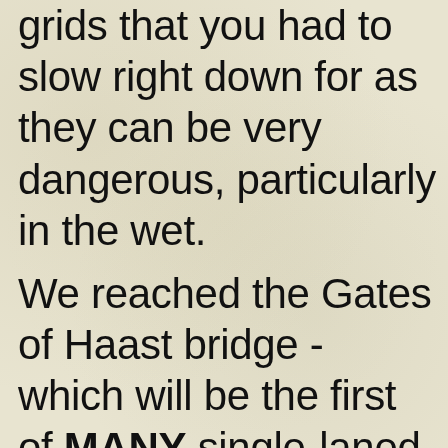grids that you had to slow right down for as they can be very dangerous, particularly in the wet.
We reached the Gates of Haast bridge - which will be the first of MANY single-laned bridges that